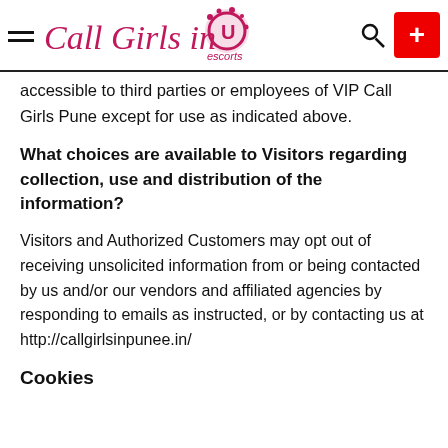Call Girls in Pune [logo]
accessible to third parties or employees of VIP Call Girls Pune except for use as indicated above.
What choices are available to Visitors regarding collection, use and distribution of the information?
Visitors and Authorized Customers may opt out of receiving unsolicited information from or being contacted by us and/or our vendors and affiliated agencies by responding to emails as instructed, or by contacting us at http://callgirlsinpunee.in/
Cookies